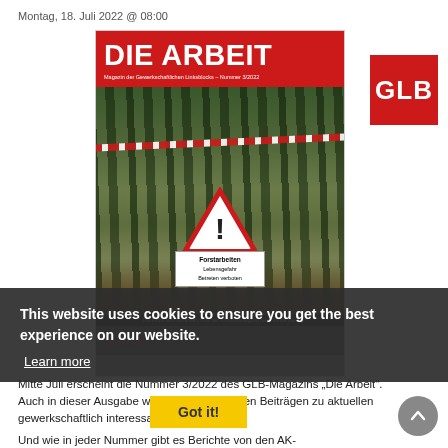Montag, 18. Juli 2022 @ 08:00
[Figure (photo): Magazine cover of 'DIE ARBEIT – Magazin der Gewerkschaftlichen Linksblocks – Nummer 3/2022' showing a forest path with a warning sign reading 'Forstarbeiten – Lebensgefahr – Betreten verboten' behind red-and-white barrier tape.]
[Figure (logo): GLB logo – white text 'GLB' on red square background]
This website uses cookies to ensure you get the best experience on our website.
Learn more
Got it!
Mitte Juli erscheint die Nummer 3/2022 des GLB-Magazins "Die Arbeit". Auch in dieser Ausgabe wieder mit zahlreichen Beiträgen zu aktuellen gewerkschaftlich interessanten Themen.
Und wie in jeder Nummer gibt es Berichte von den AK-